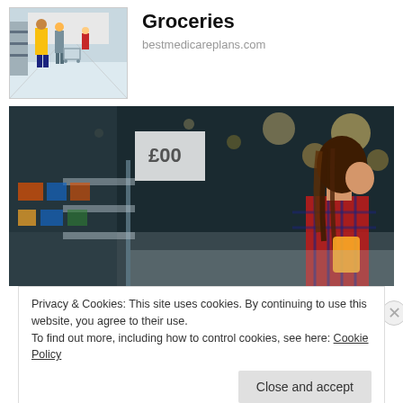[Figure (photo): Thumbnail photo of a grocery store interior with people shopping with carts]
Groceries
bestmedicareplans.com
[Figure (photo): Woman in a plaid shirt reading a product label in a grocery store aisle with shelves of products on either side]
Privacy & Cookies: This site uses cookies. By continuing to use this website, you agree to their use.
To find out more, including how to control cookies, see here: Cookie Policy
Close and accept